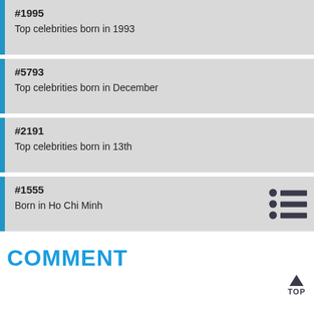#1995
Top celebrities born in 1993
#5793
Top celebrities born in December
#2191
Top celebrities born in 13th
#1555
Born in Ho Chi Minh
COMMENT